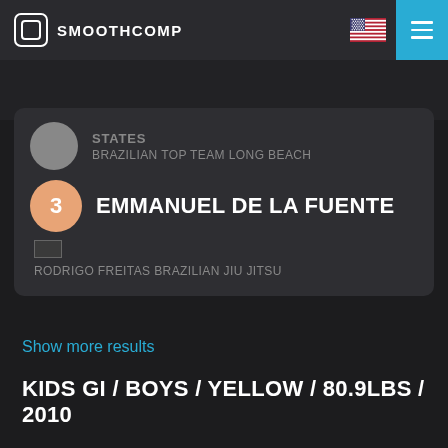SMOOTHCOMP
STATES
BRAZILIAN TOP TEAM LONG BEACH
3 EMMANUEL DE LA FUENTE
RODRIGO FREITAS BRAZILIAN JIU JITSU
Show more results
KIDS GI / BOYS / YELLOW / 80.9LBS / 2010